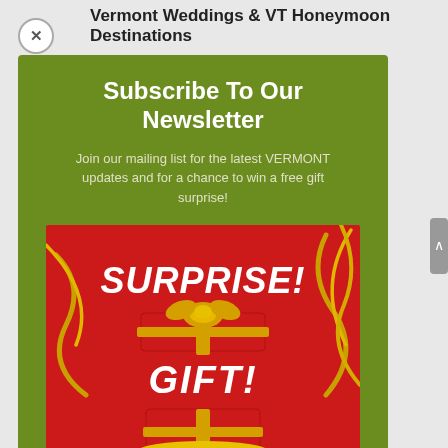Vermont Weddings & VT Honeymoon Destinations
Subscribe To Our Newsletter
Join our mailing list for the latest VERMONT updates and for a chance to win a free gift surprise!
[Figure (illustration): Red and gold gift box surprise illustration with text 'SURPRISE!' and 'GIFT!' on a red background with gold ribbons]